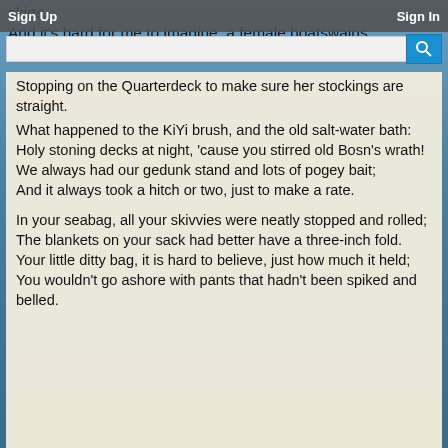skirts.
And it's hard for me to imagine, a female boatswains
Sign Up    Sign In
Stopping on the Quarterdeck to make sure her stockings are straight.

What happened to the KiYi brush, and the old salt-water bath:
Holy stoning decks at night, 'cause you stirred old Bosn's wrath!
We always had our gedunk stand and lots of pogey bait;
And it always took a hitch or two, just to make a rate.

In your seabag, all your skivvies were neatly stopped and rolled;
The blankets on your sack had better have a three-inch fold.
Your little ditty bag, it is hard to believe, just how much it held;
You wouldn't go ashore with pants that hadn't been spiked and belled.